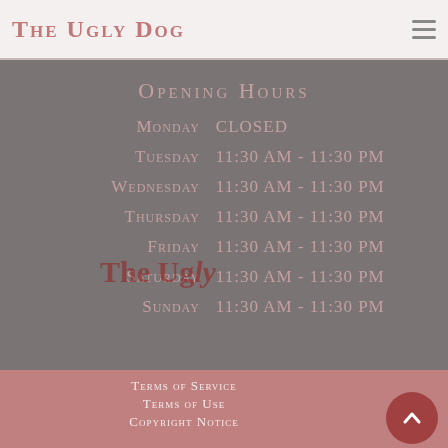The Ugly Dog
Opening Hours
| Day | Hours |
| --- | --- |
| Monday | CLOSED |
| Tuesday | 11:30 AM - 11:30 PM |
| Wednesday | 11:30 AM - 11:30 PM |
| Thursday | 11:30 AM - 11:30 PM |
| Friday | 11:30 AM - 11:30 PM |
| Saturday | 11:30 AM - 11:30 PM |
| Sunday | 11:30 AM - 11:30 PM |
Terms of Service
Terms of Use
Copyright Notice